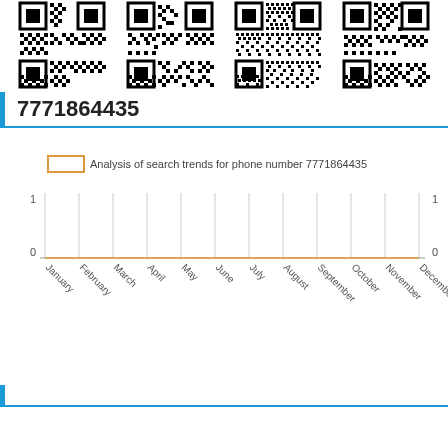[Figure (other): Four QR codes arranged horizontally at the top of the page]
7771864435
[Figure (line-chart): Analysis of search trends for phone number 7771864435]